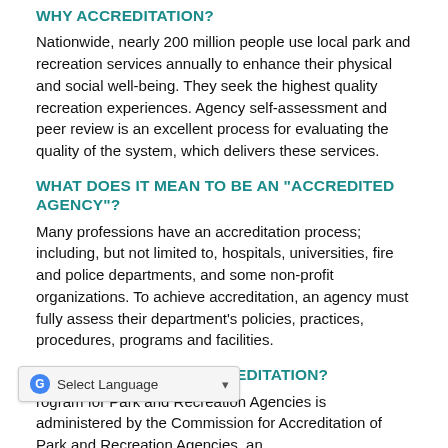WHY ACCREDITATION?
Nationwide, nearly 200 million people use local park and recreation services annually to enhance their physical and social well-being. They seek the highest quality recreation experiences. Agency self-assessment and peer review is an excellent process for evaluating the quality of the system, which delivers these services.
WHAT DOES IT MEAN TO BE AN "ACCREDITED AGENCY"?
Many professions have an accreditation process; including, but not limited to, hospitals, universities, fire and police departments, and some non-profit organizations. To achieve accreditation, an agency must fully assess their department's policies, practices, procedures, programs and facilities.
WHO ADMINISTERS ACCREDITATION?
rogram for Park and Recreation Agencies is administered by the Commission for Accreditation of Park and Recreation Agencies, an